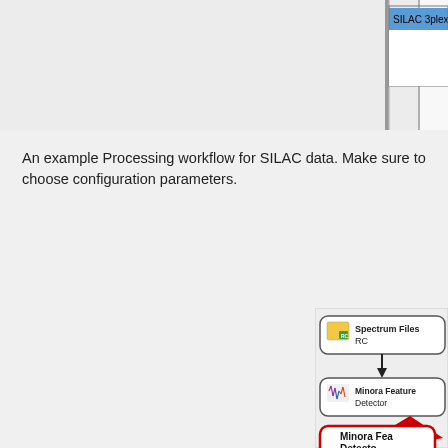[Figure (screenshot): Top portion: screenshot showing part of a UI panel with a vertical divider line and a highlighted item 'SILAC 3plex (A...' in a list box with blue highlight at top right.]
An example Processing workflow for SILAC data. Make sure to choose configuration parameters.
[Figure (flowchart): Partial screenshot of a workflow diagram showing two nodes: 'Spectrum Files RC' (with icon) connected by an arrow to 'Minora Feature Detector' (with icon), and a zoomed-in callout with red arrow pointing to 'Minora Feature Detector' node with red rounded rectangle border.]